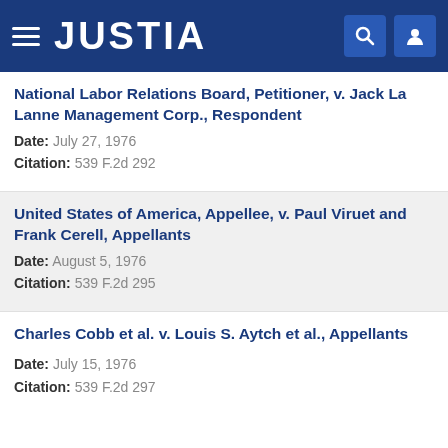JUSTIA
National Labor Relations Board, Petitioner, v. Jack La Lanne Management Corp., Respondent
Date: July 27, 1976
Citation: 539 F.2d 292
United States of America, Appellee, v. Paul Viruet and Frank Cerell, Appellants
Date: August 5, 1976
Citation: 539 F.2d 295
Charles Cobb et al. v. Louis S. Aytch et al., Appellants
Date: July 15, 1976
Citation: 539 F.2d 297